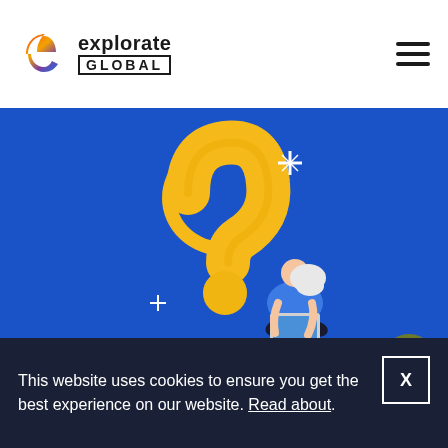[Figure (logo): Explorate Global logo with orange/purple/blue circular icon and text 'explorate GLOBAL' in a box]
[Figure (illustration): Blue background banner with large 3D golden question mark, a woman sitting cross-legged working on a laptop leaning against the question mark, with sparkle stars]
Why Choose Explorate
This website uses cookies to ensure you get the best experience on our website. Read about.